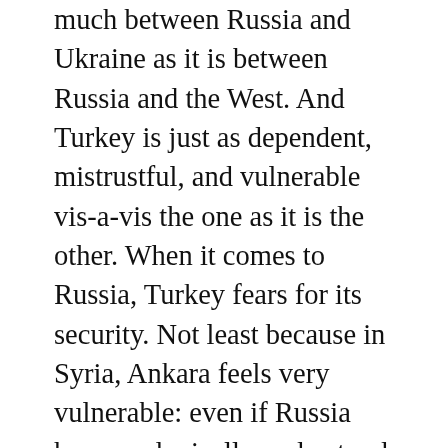much between Russia and Ukraine as it is between Russia and the West. And Turkey is just as dependent, mistrustful, and vulnerable vis-a-vis the one as it is the other. When it comes to Russia, Turkey fears for its security. Not least because in Syria, Ankara feels very vulnerable: even if Russia has paradoxically understood Turkey's security preoccupations better that Ankara's own western allies, if the countries had a serious falling-out, Moscow could immediately smash the gates of Idlib by unleashing an assault on the province. There have already been some direct clashes, leaving at least 30 dead among the Turkish military. Such a